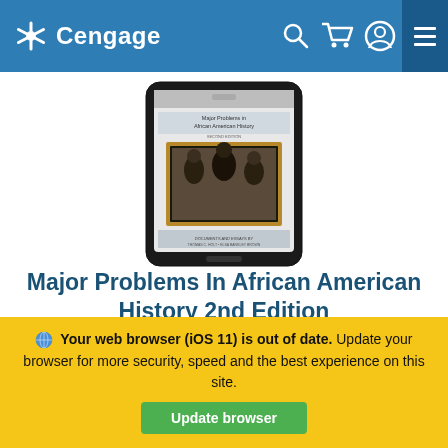Cengage
[Figure (photo): Tablet device displaying the cover of 'Major Problems in African American History, Second Edition' — showing a historical photograph of African American individuals in an ornate gold frame on the cover.]
Major Problems In African American History 2nd Edition
This text introduces you to both primary sources -- straight from the frontlines of history -- and analytical essays, and is designed to encourage critical thinking about the history and culture of African Americans. The carefully selected
Your web browser (iOS 11) is out of date. Update your browser for more security, speed and the best experience on this site.
Update browser